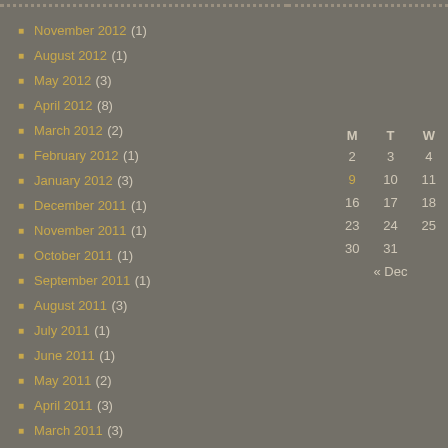November 2012 (1)
August 2012 (1)
May 2012 (3)
April 2012 (8)
March 2012 (2)
February 2012 (1)
January 2012 (3)
December 2011 (1)
November 2011 (1)
October 2011 (1)
September 2011 (1)
August 2011 (3)
July 2011 (1)
June 2011 (1)
May 2011 (2)
April 2011 (3)
March 2011 (3)
February 2011 (11)
January 2011 (4)
| M | T | W |
| --- | --- | --- |
| 2 | 3 | 4 |
| 9 | 10 | 11 |
| 16 | 17 | 18 |
| 23 | 24 | 25 |
| 30 | 31 |  |